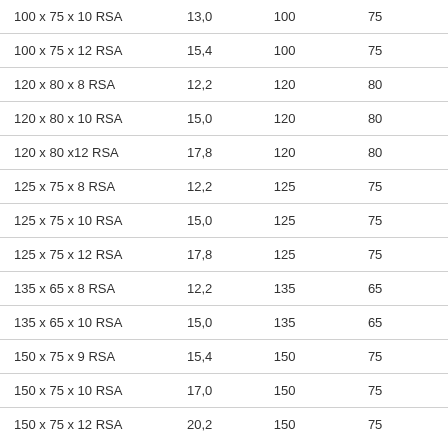| 100 x 75 x 10 RSA | 13,0 | 100 | 75 |
| 100 x 75 x 12 RSA | 15,4 | 100 | 75 |
| 120 x 80 x 8 RSA | 12,2 | 120 | 80 |
| 120 x 80 x 10 RSA | 15,0 | 120 | 80 |
| 120 x 80 x12 RSA | 17,8 | 120 | 80 |
| 125 x 75 x 8 RSA | 12,2 | 125 | 75 |
| 125 x 75 x 10 RSA | 15,0 | 125 | 75 |
| 125 x 75 x 12 RSA | 17,8 | 125 | 75 |
| 135 x 65 x 8 RSA | 12,2 | 135 | 65 |
| 135 x 65 x 10 RSA | 15,0 | 135 | 65 |
| 150 x 75 x 9 RSA | 15,4 | 150 | 75 |
| 150 x 75 x 10 RSA | 17,0 | 150 | 75 |
| 150 x 75 x 12 RSA | 20,2 | 150 | 75 |